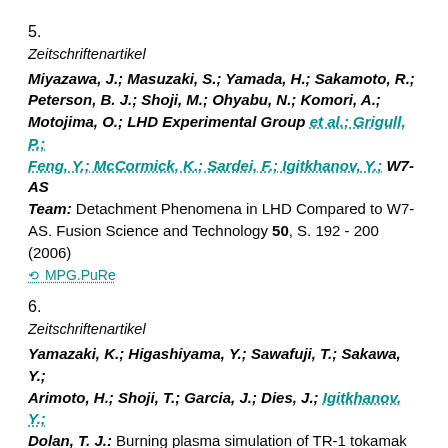5.
Zeitschriftenartikel
Miyazawa, J.; Masuzaki, S.; Yamada, H.; Sakamoto, R.; Peterson, B. J.; Shoji, M.; Ohyabu, N.; Komori, A.; Motojima, O.; LHD Experimental Group et al.; Grigull, P.; Feng, Y.; McCormick, K.; Sardei, F.; Igitkhanov, Y.; W7-AS Team: Detachment Phenomena in LHD Compared to W7-AS. Fusion Science and Technology 50, S. 192 - 200 (2006)
MPG.PuRe
6.
Zeitschriftenartikel
Yamazaki, K.; Higashiyama, Y.; Sawafuji, T.; Sakawa, Y.; Arimoto, H.; Shoji, T.; Garcia, J.; Dies, J.; Igitkhanov, Y.; Dolan, T. J.: Burning plasma simulation of TR-1 tokamak and HR-1 helical reactors. Fusion Engineering and Design 81, S. 8743 - 8748 (2006)